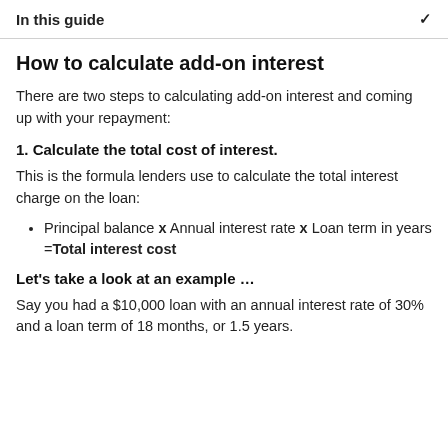In this guide
How to calculate add-on interest
There are two steps to calculating add-on interest and coming up with your repayment:
1. Calculate the total cost of interest.
This is the formula lenders use to calculate the total interest charge on the loan:
Principal balance x Annual interest rate x Loan term in years =Total interest cost
Let's take a look at an example …
Say you had a $10,000 loan with an annual interest rate of 30% and a loan term of 18 months, or 1.5 years.